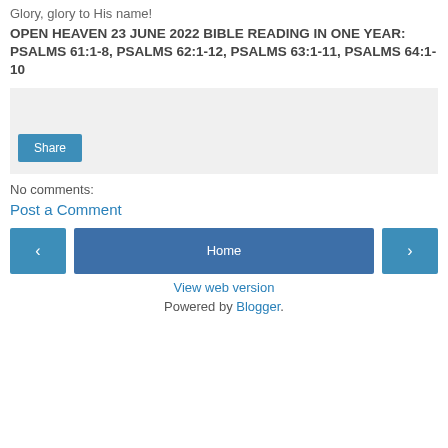Glory, glory to His name!
OPEN HEAVEN 23 JUNE 2022 BIBLE READING IN ONE YEAR: PSALMS 61:1-8, PSALMS 62:1-12, PSALMS 63:1-11, PSALMS 64:1-10
[Figure (other): Light grey sharing widget box with a Share button]
No comments:
Post a Comment
[Figure (other): Navigation row with left arrow button, Home button, and right arrow button]
View web version
Powered by Blogger.